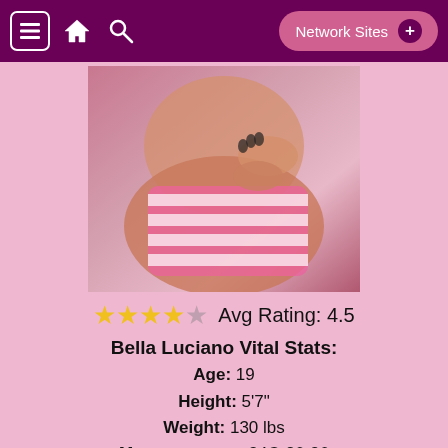Network Sites +
[Figure (photo): Photo of Bella Luciano in pink and white striped outfit]
★★★★☆ Avg Rating: 4.5
Bella Luciano Vital Stats:
Age: 19
Height: 5'7"
Weight: 130 lbs
Measurements: 34C-26-36
Astrological Sign: Cancer
Location: New York, USA
Bella is a bisexual half Italian and half Puerto Rican hottie from New York. You would never tell that she has a wild side as conservative as she is. Her major in college